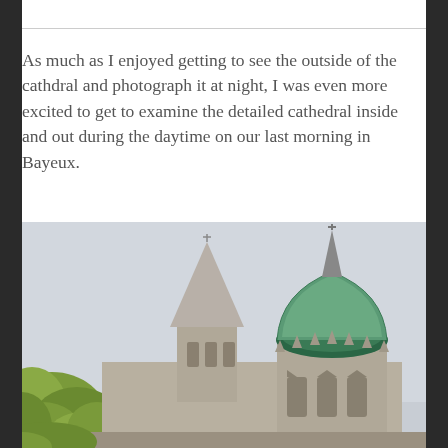As much as I enjoyed getting to see the outside of the cathdral and photograph it at night, I was even more excited to get to examine the detailed cathedral inside and out during the daytime on our last morning in Bayeux.
[Figure (photo): Daytime photograph of Bayeux Cathedral showing two Gothic spires against an overcast grey sky. The left spire is a tall narrow stone spire, and the right tower features a large green copper-clad dome/spire with Gothic arched windows below. Green leafy trees are visible in the lower left corner.]